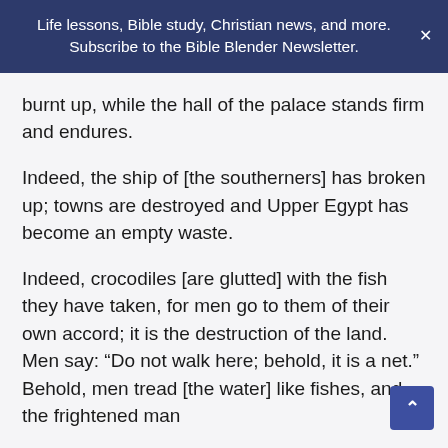Life lessons, Bible study, Christian news, and more. Subscribe to the Bible Blender Newsletter.
burnt up, while the hall of the palace stands firm and endures.
Indeed, the ship of [the southerners] has broken up; towns are destroyed and Upper Egypt has become an empty waste.
Indeed, crocodiles [are glutted] with the fish they have taken, for men go to them of their own accord; it is the destruction of the land. Men say: “Do not walk here; behold, it is a net.” Behold, men tread [the water] like fishes, and the frightened man